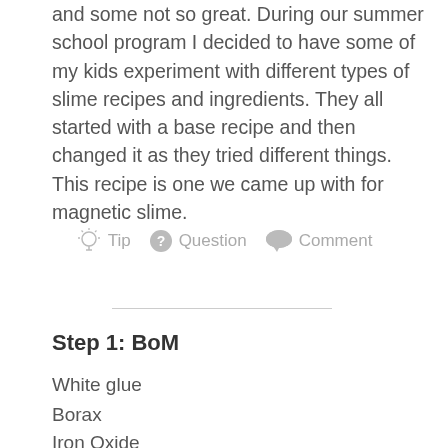and some not so great. During our summer school program I decided to have some of my kids experiment with different types of slime recipes and ingredients. They all started with a base recipe and then changed it as they tried different things. This recipe is one we came up with for magnetic slime.
Tip   Question   Comment
Step 1: BoM
White glue
Borax
Iron Oxide